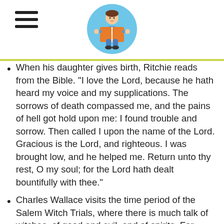[Header with hamburger menu icon and reading child logo]
When his daughter gives birth, Ritchie reads from the Bible. “I love the Lord, because he hath heard my voice and my supplications. The sorrows of death compassed me, and the pains of hell got hold upon me: I found trouble and sorrow. Then called I upon the name of the Lord. Gracious is the Lord, and righteous. I was brought low, and he helped me. Return unto thy rest, O my soul; for the Lord hath dealt bountifully with thee.”
Charles Wallace visits the time period of the Salem Witch Trials, where there is much talk of witches, of good and evil, and of spirits. For example, one boy says, “My father says there are evil spirits abroad, hardening men’s hearts.” The pastor claims a Native American woman is a witch and it is God’s will that she be killed. The Native American woman’s father-in-law uses scripture to defend her, but the townspeople won’t listen.